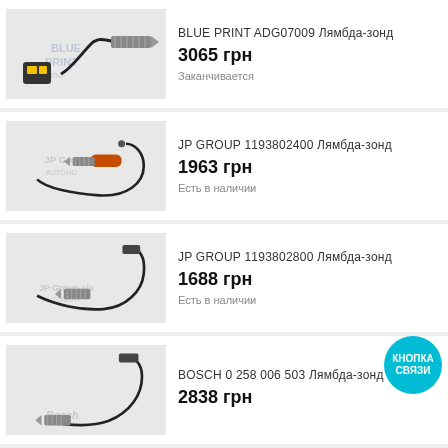[Figure (photo): Lambda sensor / oxygen sensor product image - Blue Print ADG07009]
BLUE PRINT ADG07009 Лямбда-зонд
3065 грн
Заканчивается
[Figure (photo): Lambda sensor / oxygen sensor product image - JP GROUP 1193802400]
JP GROUP 1193802400 Лямбда-зонд
1963 грн
Есть в наличии
[Figure (photo): Lambda sensor / oxygen sensor product image - JP GROUP 1193802800]
JP GROUP 1193802800 Лямбда-зонд
1688 грн
Есть в наличии
[Figure (photo): Lambda sensor / oxygen sensor product image - BOSCH 0 258 006 503]
BOSCH 0 258 006 503 Лямбда-зонд
2838 грн
КНОПКА СВЯЗИ